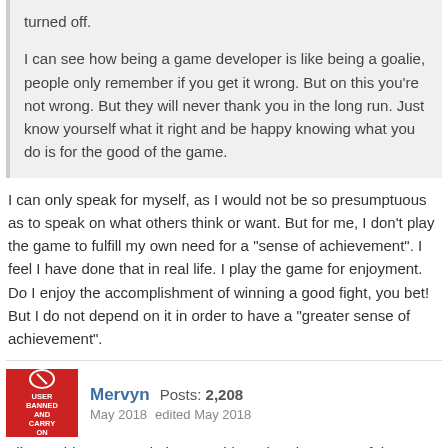turned off.
I can see how being a game developer is like being a goalie, people only remember if you get it wrong. But on this you're not wrong. But they will never thank you in the long run. Just know yourself what it right and be happy knowing what you do is for the good of the game.
I can only speak for myself, as I would not be so presumptuous as to speak on what others think or want. But for me, I don't play the game to fulfill my own need for a "sense of achievement". I feel I have done that in real life. I play the game for enjoyment. Do I enjoy the accomplishment of winning a good fight, you bet! But I do not depend on it in order to have a "greater sense of achievement".
Mervyn  Posts: 2,208
May 2018   edited May 2018
Like I said most people have no idea what they want. If they gave you what you think you want I'm sure you'd get bored fairly quickly and quit paying your subscription.